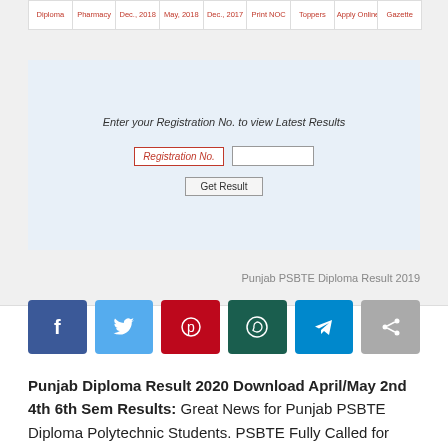[Figure (screenshot): Website screenshot showing a navigation bar with Diploma, Pharmacy, Dec. 2018, May 2018, Dec. 2017, Print NOC, Toppers, Apply Online, Gazette tabs, and a form to enter Registration No. to view Latest Results with a Get Result button.]
Punjab PSBTE Diploma Result 2019
[Figure (other): Social media share buttons: Facebook, Twitter, Pinterest, WhatsApp, Telegram, and a share/forward button]
Punjab Diploma Result 2020 Download April/May 2nd 4th 6th Sem Results: Great News for Punjab PSBTE Diploma Polytechnic Students. PSBTE Fully Called for Punjab State Board of Technical Education And Industrial Training. Recently PSBTE Board State Successfully Conducted the Diploma ITI 1st 2nd 3rd 4th 5th & 6th Semester Examinations in May/June 2020. According to reports A